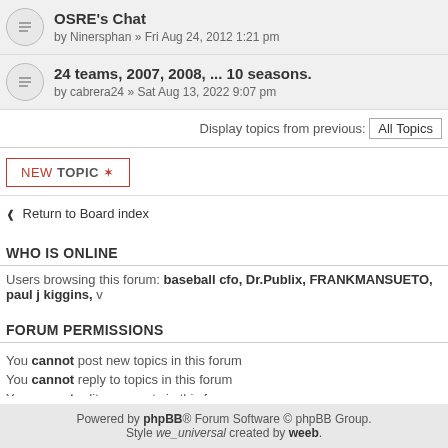OSRE's Chat by Ninersphan » Fri Aug 24, 2012 1:21 pm
24 teams, 2007, 2008, ... 10 seasons. by cabrera24 » Sat Aug 13, 2022 9:07 pm
Display topics from previous: All Topics
NEW TOPIC ✶
⁋ Return to Board index
WHO IS ONLINE
Users browsing this forum: baseball cfo, Dr.Publix, FRANKMANSUETO, paul j kiggins, v
FORUM PERMISSIONS
You cannot post new topics in this forum
You cannot reply to topics in this forum
You cannot edit your posts in this forum
You cannot delete your posts in this forum
You cannot post attachments in this forum
Powered by phpBB® Forum Software © phpBB Group. Style we_universal created by weeb.